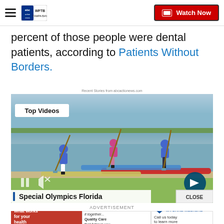WFTB Tampa Bay – ABC Action News – Watch Now
percent of those people were dental patients, according to Patients Without Borders.
Recent Stories from abcactionews.com
[Figure (screenshot): Video player showing three people paddle boarding on water with 'Top Videos' badge and 'Special Olympics Florida' caption bar. Playback controls visible including pause and mute icons, and a next arrow button.]
ADVERTISEMENT – What works for your health right now? / Let's customize it together... Quality Care that follows you every where... / MyCare Medical – Call us today to learn more 855-202-8988 MyCare MedicalGroup.com